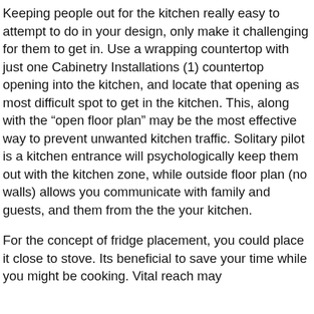Keeping people out for the kitchen really easy to attempt to do in your design, only make it challenging for them to get in. Use a wrapping countertop with just one Cabinetry Installations (1) countertop opening into the kitchen, and locate that opening as most difficult spot to get in the kitchen. This, along with the “open floor plan” may be the most effective way to prevent unwanted kitchen traffic. Solitary pilot is a kitchen entrance will psychologically keep them out with the kitchen zone, while outside floor plan (no walls) allows you communicate with family and guests, and them from the the your kitchen.
For the concept of fridge placement, you could place it close to stove. Its beneficial to save your time while you might be cooking. Vital reach may